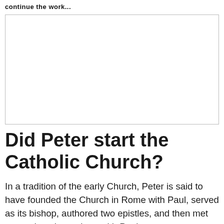continue the work...
[Figure (other): Empty white image placeholder box with a border]
Did Peter start the Catholic Church?
In a tradition of the early Church, Peter is said to have founded the Church in Rome with Paul, served as its bishop, authored two epistles, and then met martyrdom there along with Paul.